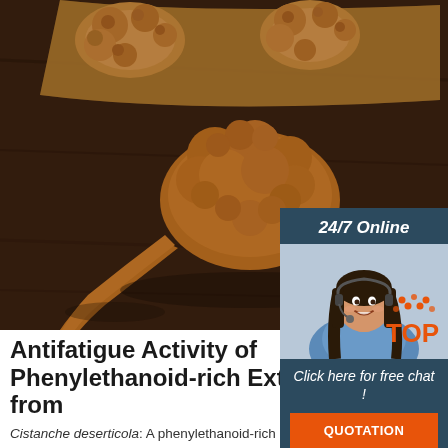[Figure (photo): Close-up photograph of dried Cistanche deserticola root pieces on a wooden surface. The roots are brown, bumpy and irregular in shape, resembling small dinosaur-like forms.]
[Figure (infographic): 24/7 Online chat widget overlay showing a female customer service operator wearing a headset, with text 'Click here for free chat!' and an orange QUOTATION button.]
Antifatigue Activity of Phenylethanoid-rich Extract from
Cistanche deserticola: A phenylethanoid-rich extract of Cistanche deserticola Y.C. Ma, evaluated by Cai et al. (2010) for antifatigue activity in mice [91]. The swimming time to